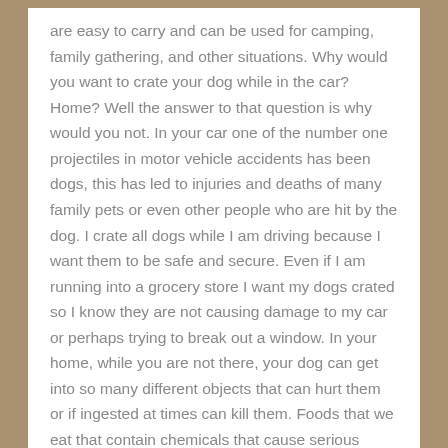are easy to carry and can be used for camping, family gathering, and other situations. Why would you want to crate your dog while in the car? Home? Well the answer to that question is why would you not. In your car one of the number one projectiles in motor vehicle accidents has been dogs, this has led to injuries and deaths of many family pets or even other people who are hit by the dog. I crate all dogs while I am driving because I want them to be safe and secure. Even if I am running into a grocery store I want my dogs crated so I know they are not causing damage to my car or perhaps trying to break out a window. In your home, while you are not there, your dog can get into so many different objects that can hurt them or if ingested at times can kill them. Foods that we eat that contain chemicals that cause serious illness or even death to our beloved canine companions. Another incident that can occur while you are away is your dog damaging your house or someone coming to your house and ringing the doorbell, sending your dog into a fit in